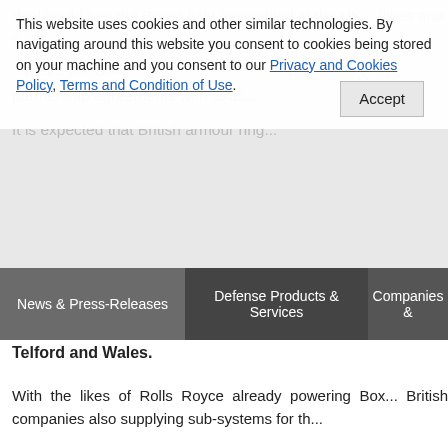deal could see the Boxer fully assembled in the UK... facilities and... future the Boxer... partnership agreements with BAE...
This website uses cookies and other similar technologies. By navigating around this website you consent to cookies being stored on your machine and you consent to our Privacy and Cookies Policy, Terms and Condition of Use. Accept
News & Press-Releases | Defense Products & Services | Companies &
Telford and Wales.
With the likes of Rolls Royce already powering Box... British companies also supplying sub-systems for th...
The MOD is now taking forward negotiations with... Looking forward to the Assessment Phase, conclu... locations and different supply chains for Boxer, as... and assessment in 2019 and the aim is to have the...
OCCAR is a European intergovernmental organis... through their lifecycle between the UK and Euro... OCCAR member state, the UK has the necessary... Britain benefits from supply chain work.
The MOD conducted a comprehensive market an...